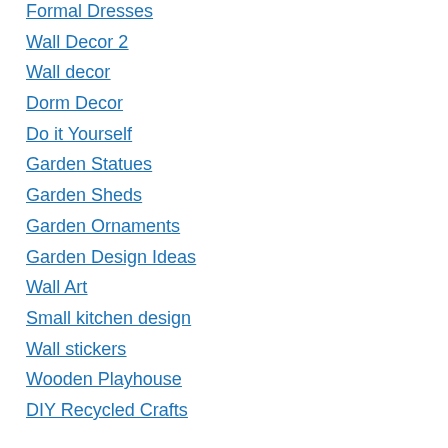Formal Dresses
Wall Decor 2
Wall decor
Dorm Decor
Do it Yourself
Garden Statues
Garden Sheds
Garden Ornaments
Garden Design Ideas
Wall Art
Small kitchen design
Wall stickers
Wooden Playhouse
DIY Recycled Crafts